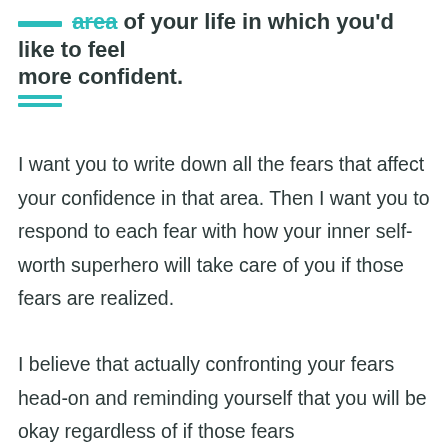area of your life in which you'd like to feel more confident.
I want you to write down all the fears that affect your confidence in that area. Then I want you to respond to each fear with how your inner self-worth superhero will take care of you if those fears are realized.
I believe that actually confronting your fears head-on and reminding yourself that you will be okay regardless of if those fears